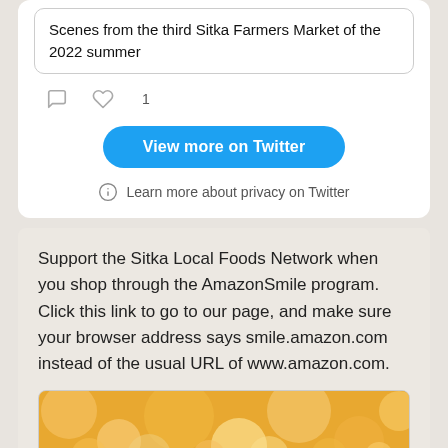Scenes from the third Sitka Farmers Market of the 2022 summer
[Figure (screenshot): Tweet action icons: comment bubble and heart with count 1]
View more on Twitter
Learn more about privacy on Twitter
Support the Sitka Local Foods Network when you shop through the AmazonSmile program. Click this link to go to our page, and make sure your browser address says smile.amazon.com instead of the usual URL of www.amazon.com.
[Figure (photo): Bokeh golden light background image, partial view of an AmazonSmile advertisement]